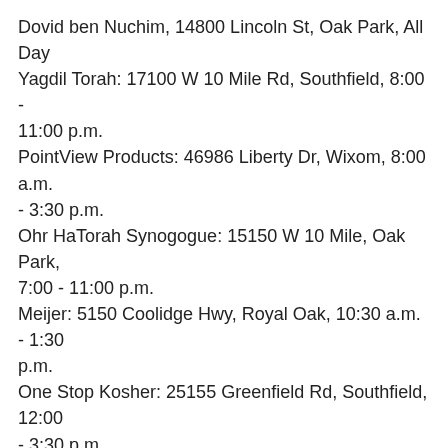Dovid ben Nuchim, 14800 Lincoln St, Oak Park, All Day
Yagdil Torah: 17100 W 10 Mile Rd, Southfield, 8:00 - 11:00 p.m.
PointView Products: 46986 Liberty Dr, Wixom, 8:00 a.m. - 3:30 p.m.
Ohr HaTorah Synogogue: 15150 W 10 Mile, Oak Park, 7:00 - 11:00 p.m.
Meijer: 5150 Coolidge Hwy, Royal Oak, 10:30 a.m.  - 1:30 p.m.
One Stop Kosher: 25155 Greenfield Rd, Southfield, 12:00 - 3:30 p.m.
Aldi: 26300 Greenfield Rd, Oak Park, All day
Yeshiva Beth Yahuda: 15751 Lincoln Dr, Southfield, 10:00 a.m. - 5:00 p.m.
The Natural Food Patch: 221 West 9 Mile, Ferndale, 3:00 -5:20 p.m.